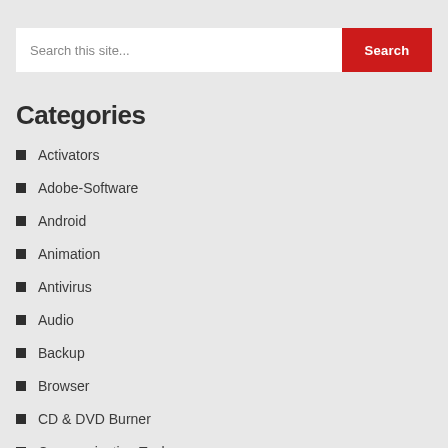[Figure (screenshot): Search bar with text input 'Search this site...' and a red 'Search' button]
Categories
Activators
Adobe-Software
Android
Animation
Antivirus
Audio
Backup
Browser
CD & DVD Burner
Communication Tool
Converters
Data Recovery Software